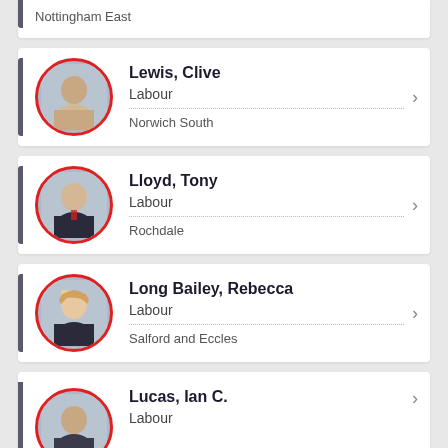Nottingham East (partial card, cut off at top)
Lewis, Clive | Labour | Norwich South
Lloyd, Tony | Labour | Rochdale
Long Bailey, Rebecca | Labour | Salford and Eccles
Lucas, Ian C. | Labour (partial card, cut off at bottom)